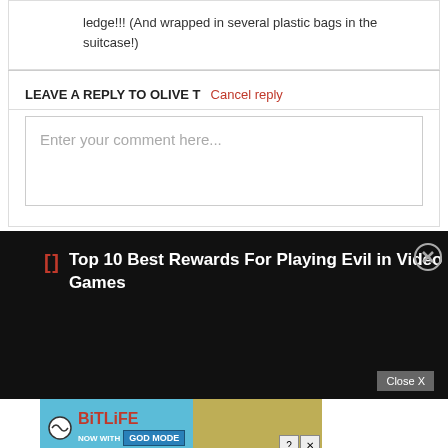ledge!!! (And wrapped in several plastic bags in the suitcase!)
LEAVE A REPLY TO OLIVE T Cancel reply
Enter your comment here...
[Figure (screenshot): Black ad bar with red bracket icon and white text: Top 10 Best Rewards For Playing Evil in Video Games, with close X circle button]
[Figure (screenshot): BitLife advertisement banner: NOW WITH GOD MODE on blue background with hand pointing graphic and help/close buttons]